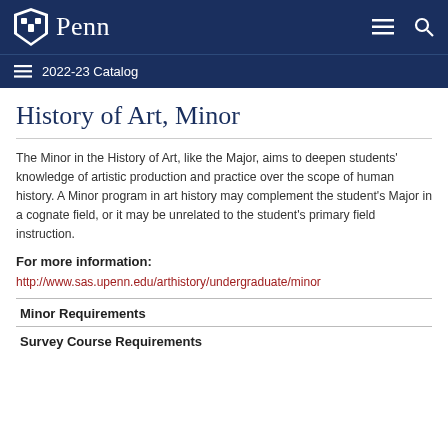Penn 2022-23 Catalog
History of Art, Minor
The Minor in the History of Art, like the Major, aims to deepen students' knowledge of artistic production and practice over the scope of human history. A Minor program in art history may complement the student's Major in a cognate field, or it may be unrelated to the student's primary field instruction.
For more information:
http://www.sas.upenn.edu/arthistory/undergraduate/minor
Minor Requirements
Survey Course Requirements